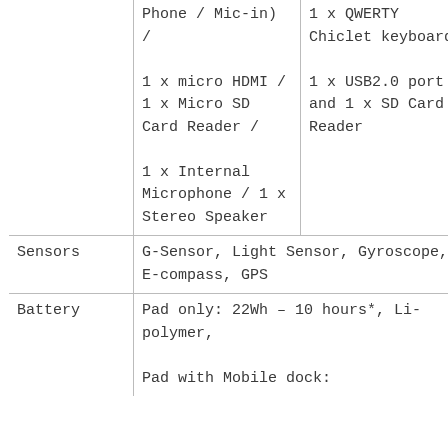|  | Feature | Detail |
| --- | --- | --- |
|  | Phone / Mic-in) /

1 x micro HDMI / 1 x Micro SD Card Reader /

1 x Internal Microphone / 1 x Stereo Speaker | 1 x QWERTY Chiclet keyboard

1 x USB2.0 port and 1 x SD Card Reader |
| Sensors | G-Sensor, Light Sensor, Gyroscope, E-compass, GPS |  |
| Battery | Pad only: 22Wh – 10 hours*, Li-polymer,

Pad with Mobile dock: |  |